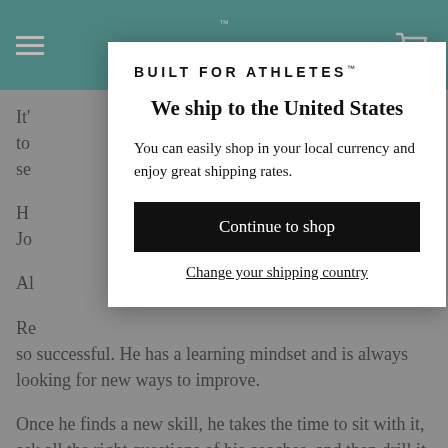Built For Athletes (teal navigation header with hamburger menu and cart icon)
It' ... to ... se...
H... Jo...
Al...
Re... so successful. He has a learning mindset and is always looking for new ways to improve.
Once he finds a new skill, he takes the time to sit with it, ask all the right questions of his coaches, and then drill it until he's mastered the technique.
He's always had an inquisitive mind about the sport and actually started learning by teaching himself through
[Figure (screenshot): Modal popup overlay on a website. Logo reads 'BUILT FOR ATHLETES™'. Title: 'We ship to the United States'. Body text: 'You can easily shop in your local currency and enjoy great shipping rates.' Black button: 'Continue to shop'. Underlined link: 'Change your shipping country'.]
We ship to the United States
You can easily shop in your local currency and enjoy great shipping rates.
Continue to shop
Change your shipping country